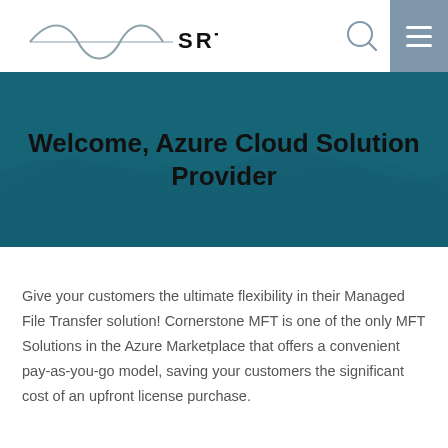[Figure (logo): SRT logo with sine wave graphic and text SRT]
Welcome, Azure Cloud Solution Provider
Give your customers the ultimate flexibility in their Managed File Transfer solution! Cornerstone MFT is one of the only MFT Solutions in the Azure Marketplace that offers a convenient pay-as-you-go model, saving your customers the significant cost of an upfront license purchase.